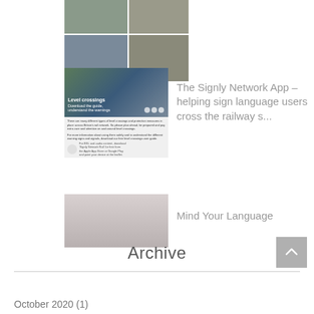[Figure (photo): Photo collage of people at a gathering or event, arranged in a 2x2 grid]
[Figure (photo): Level crossings information poster from Signly Network, showing railway crossing imagery with text 'Level crossings - Download the guide, understand the warnings']
The Signly Network App - helping sign language users cross the railway s...
[Figure (photo): Photo of a woman and man with a camera/video equipment, filming scene]
Mind Your Language
Archive
October 2020 (1)